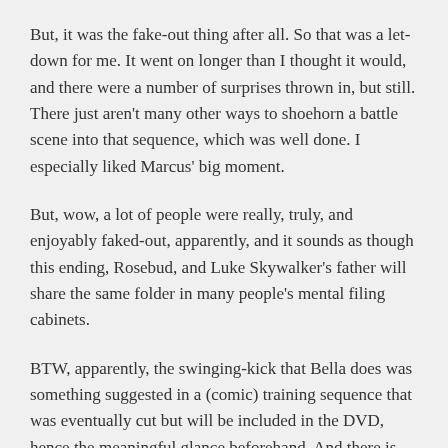But, it was the fake-out thing after all. So that was a let-down for me. It went on longer than I thought it would, and there were a number of surprises thrown in, but still. There just aren't many other ways to shoehorn a battle scene into that sequence, which was well done. I especially liked Marcus' big moment.
But, wow, a lot of people were really, truly, and enjoyably faked-out, apparently, and it sounds as though this ending, Rosebud, and Luke Skywalker's father will share the same folder in many people's mental filing cabinets.
BTW, apparently, the swinging-kick that Bella does was something suggested in a (comic) training sequence that was eventually cut but will be included in the DVD, hence the meaningful glance beforehand. And there is the revolutionary speech from Garrett that will be included there as well.
And that will be it for Twilight…
Until the utterly, completely, and entirely inevitable sequels come